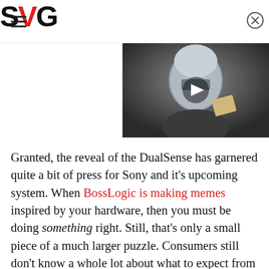SVG
[Figure (photo): A Mandalorian-style armored character holding something, with a play button overlay, video thumbnail]
Granted, the reveal of the DualSense has garnered quite a bit of press for Sony and it's upcoming system. When BossLogic is making memes inspired by your hardware, then you must be doing something right. Still, that's only a small piece of a much larger puzzle. Consumers still don't know a whole lot about what to expect from the PS5. Now there's the potential for many